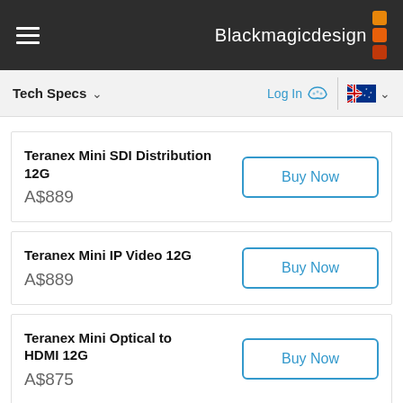Blackmagic Design
Tech Specs ∨  Log In  🇦🇺 ∨
Teranex Mini SDI Distribution 12G
A$889
Buy Now
Teranex Mini IP Video 12G
A$889
Buy Now
Teranex Mini Optical to HDMI 12G
A$875
Buy Now